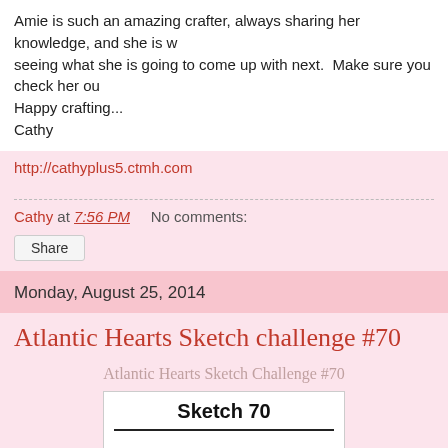Amie is such an amazing crafter, always sharing her knowledge, and she is w seeing what she is going to come up with next.  Make sure you check her ou Happy crafting...
Cathy
http://cathyplus5.ctmh.com
Cathy at 7:56 PM    No comments:
Share
Monday, August 25, 2014
Atlantic Hearts Sketch challenge #70
Atlantic Hearts Sketch Challenge #70
[Figure (other): Sketch 70 image placeholder box with bold title 'Sketch 70']